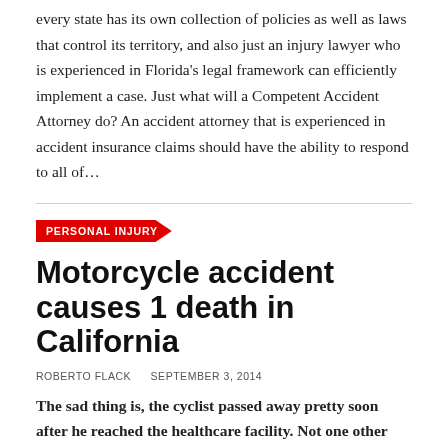every state has its own collection of policies as well as laws that control its territory, and also just an injury lawyer who is experienced in Florida's legal framework can efficiently implement a case. Just what will a Competent Accident Attorney do? An accident attorney that is experienced in accident insurance claims should have the ability to respond to all of…
PERSONAL INJURY
Motorcycle accident causes 1 death in California
ROBERTO FLACK   SEPTEMBER 3, 2014
The sad thing is, the cyclist passed away pretty soon after he reached the healthcare facility. Not one other injuries were